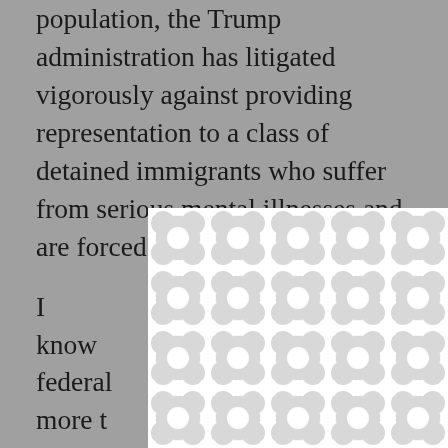population, the Trump administration has litigated vigorously against providing representation to a class of detained immigrants who suffer from serious mental illnesses and are forced [obscured by modal] I know [obscured] a federal [obscured] California more t[obscured] hearing[obscured] ion for my [obscured] h his Department [obscured] ionally opposed [obscured] immigrants with serious mental disorders. Although many of my clients hear voices in their heads, the president's lawyers vigorously argue that they must represent themselves, no matter
[Figure (other): A modal dialog overlay with a white background and a repeating circular/blob pattern in light gray. An X close button appears in the upper right corner of the modal. The modal obscures part of the underlying legal text.]